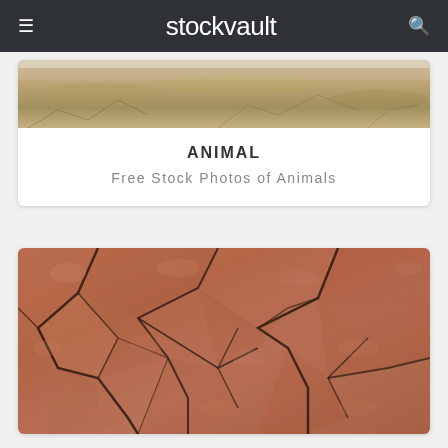stockvault
[Figure (photo): Cracked dry sandy soil/earth texture visible at top of animal category card]
ANIMAL
Free Stock Photos of Animals
[Figure (photo): Close-up of cracked red/orange dry earth or clay soil with deep fissures]